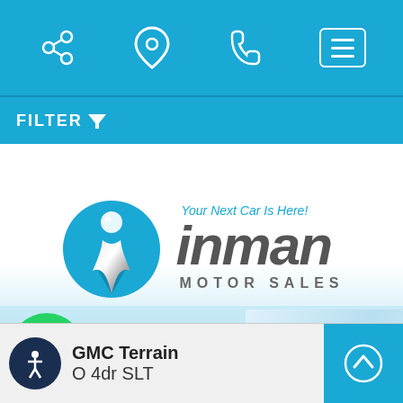[Figure (screenshot): Mobile app top navigation bar with share, location, phone, and menu icons on a blue background]
FILTER
[Figure (logo): Inman Motor Sales logo with blue circle badge and stylized italic text reading 'inman MOTOR SALES' with tagline 'Your Next Car Is Here!']
[Figure (screenshot): WhatsApp phone bubble icon (green circle with phone handset)]
Chat with Us!
357 My... (617)666-...
GMC  Terrain
4dr SLT